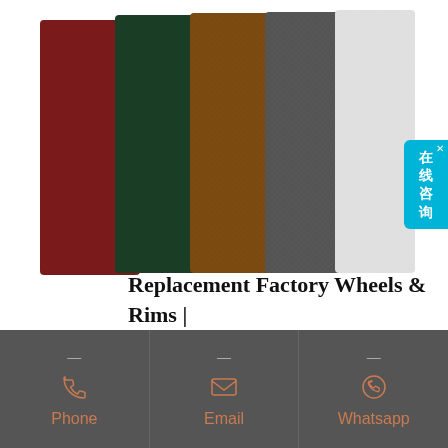[Figure (photo): Five overlapping fabric/abrasive pad swatches in maroon, dark green, brown, gray, and white colors arranged side by side]
[Figure (infographic): Chinese language live chat bubble in cyan on right side, showing characters 在线咨询 (online consultation) with an X close button]
Replacement Factory Wheels & Rims | Alloy, Steel - CARiD
[Figure (infographic): Dark gray footer bar with three contact options: Phone (phone icon), Email (envelope icon), Whatsapp (whatsapp icon), each with a dash above and label below in copper/orange color]